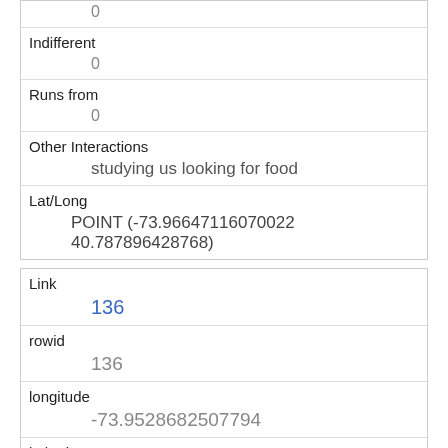|  | 0 |
| Indifferent | 0 |
| Runs from | 0 |
| Other Interactions | studying us looking for food |
| Lat/Long | POINT (-73.96647116070022 40.787896428768) |
| Link | 136 |
| rowid | 136 |
| longitude | -73.9528682507794 |
| latitude | 40.792580780830704 |
| Unique Squirrel ID | 36I-PM-1007-13 |